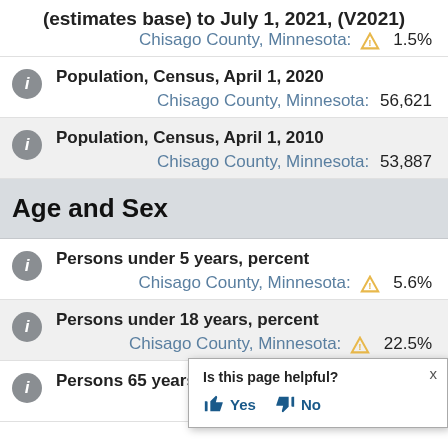(estimates base) to July 1, 2021, (V2021)
Chisago County, Minnesota: 1.5%
Population, Census, April 1, 2020
Chisago County, Minnesota: 56,621
Population, Census, April 1, 2010
Chisago County, Minnesota: 53,887
Age and Sex
Persons under 5 years, percent
Chisago County, Minnesota: 5.6%
Persons under 18 years, percent
Chisago County, Minnesota: 22.5%
Persons 65 years and over, percent
Chisago County, Minnesota:
Is this page helpful? Yes No